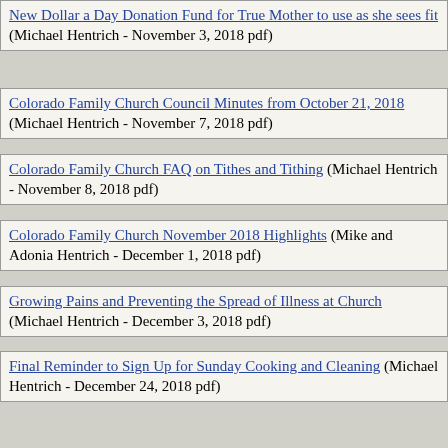New Dollar a Day Donation Fund for True Mother to use as she sees fit (Michael Hentrich - November 3, 2018 pdf)
Colorado Family Church Council Minutes from October 21, 2018 (Michael Hentrich - November 7, 2018 pdf)
Colorado Family Church FAQ on Tithes and Tithing (Michael Hentrich - November 8, 2018 pdf)
Colorado Family Church November 2018 Highlights (Mike and Adonia Hentrich - December 1, 2018 pdf)
Growing Pains and Preventing the Spread of Illness at Church (Michael Hentrich - December 3, 2018 pdf)
Final Reminder to Sign Up for Sunday Cooking and Cleaning (Michael Hentrich - December 24, 2018 pdf)
Local New Year’s Eve Service & At-Home Resources (Michael Hentrich - December 30, 2018 pdf)
Colorado Family Church Update on Our Sunday Lunches (Michael Hentrich - January 2, 2019 pdf)
Colorado Family Church's New Dollars and Sense Group Starts this Sunday (Michael Hentrich - January 3, 2019 pdf)
Colorado Family Church's First Ever Membership Class This Sunday (Michael Hentrich - January 4, 2019 pdf)